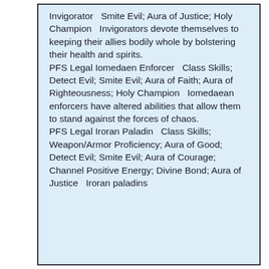Invigorator   Smite Evil; Aura of Justice; Holy Champion   Invigorators devote themselves to keeping their allies bodily whole by bolstering their health and spirits. PFS Legal Iomedaen Enforcer   Class Skills; Detect Evil; Smite Evil; Aura of Faith; Aura of Righteousness; Holy Champion   Iomedaean enforcers have altered abilities that allow them to stand against the forces of chaos. PFS Legal Iroran Paladin   Class Skills; Weapon/Armor Proficiency; Aura of Good; Detect Evil; Smite Evil; Aura of Courage; Channel Positive Energy; Divine Bond; Aura of Justice   Iroran paladins